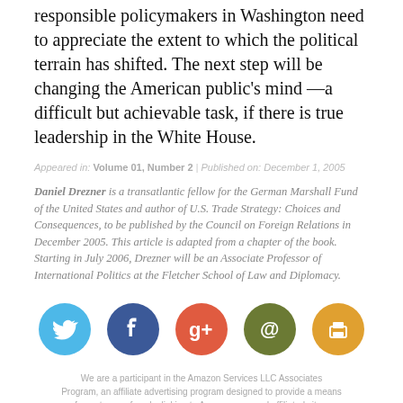responsible policymakers in Washington need to appreciate the extent to which the political terrain has shifted. The next step will be changing the American public's mind —a difficult but achievable task, if there is true leadership in the White House.
Appeared in: Volume 01, Number 2 | Published on: December 1, 2005
Daniel Drezner is a transatlantic fellow for the German Marshall Fund of the United States and author of U.S. Trade Strategy: Choices and Consequences, to be published by the Council on Foreign Relations in December 2005. This article is adapted from a chapter of the book. Starting in July 2006, Drezner will be an Associate Professor of International Politics at the Fletcher School of Law and Diplomacy.
[Figure (infographic): Five social media / sharing icons in circles: Twitter (blue), Facebook (dark blue), Google+ (orange-red), Email/@ (olive green), Print (gold/yellow)]
We are a participant in the Amazon Services LLC Associates Program, an affiliate advertising program designed to provide a means for us to earn fees by linking to Amazon.com and affiliated sites.